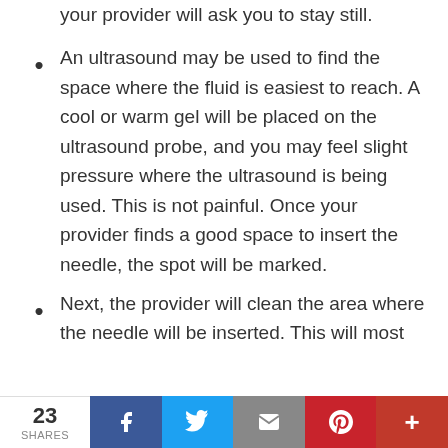your provider will ask you to stay still.
An ultrasound may be used to find the space where the fluid is easiest to reach. A cool or warm gel will be placed on the ultrasound probe, and you may feel slight pressure where the ultrasound is being used. This is not painful. Once your provider finds a good space to insert the needle, the spot will be marked.
Next, the provider will clean the area where the needle will be inserted. This will most
23 SHARES  [Facebook] [Twitter] [Email] [Pinterest] [More]